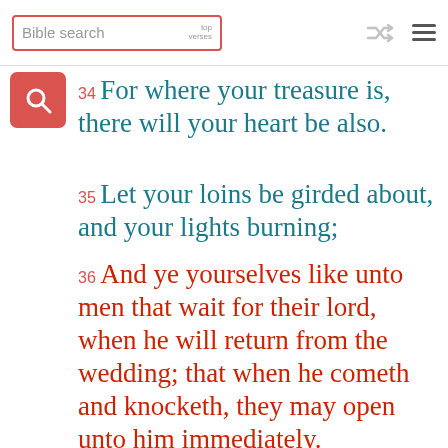Bible search | top verses
34 For where your treasure is, there will your heart be also.
35 Let your loins be girded about, and your lights burning;
36 And ye yourselves like unto men that wait for their lord, when he will return from the wedding; that when he cometh and knocketh, they may open unto him immediately.
37 Blessed are those servants, whom the lord when he cometh shall find watching: verily I say unto you, that he shall gird himself, and make them to sit down to meat, and will come